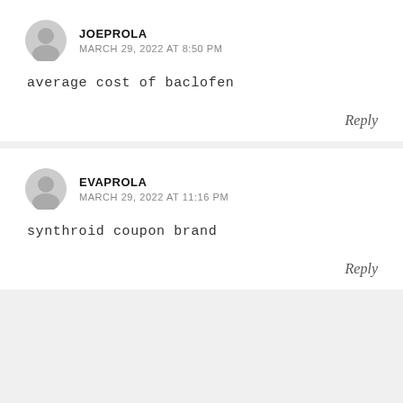JOEPROLA
MARCH 29, 2022 AT 8:50 PM
average cost of baclofen
Reply
EVAPROLA
MARCH 29, 2022 AT 11:16 PM
synthroid coupon brand
Reply